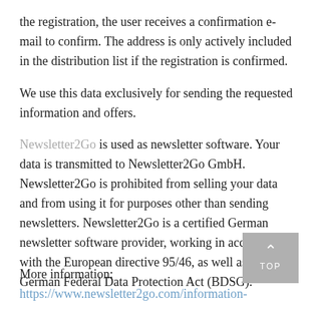the registration, the user receives a confirmation e-mail to confirm. The address is only actively included in the distribution list if the registration is confirmed.
We use this data exclusively for sending the requested information and offers.
Newsletter2Go is used as newsletter software. Your data is transmitted to Newsletter2Go GmbH. Newsletter2Go is prohibited from selling your data and from using it for purposes other than sending newsletters. Newsletter2Go is a certified German newsletter software provider, working in accordance with the European directive 95/46, as well as the German Federal Data Protection Act (BDSG).
More information: https://www.newsletter2go.com/information-